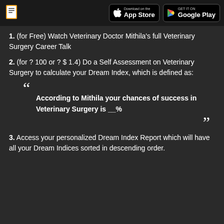Download on the App Store | GET IT ON Google Play
1. (for Free) Watch Veterinary Doctor Mithila's full Veterinary Surgery Career Talk
2. (for ? 100 or ? $ 1.4) Do a Self Assessment on Veterinary Surgery to calculate your Dream Index, which is defined as:
“According to Mithila your chances of success in Veterinary Surgery is __%”
3. Access your personalized Dream Index Report which will have all your Dream Indices sorted in descending order.